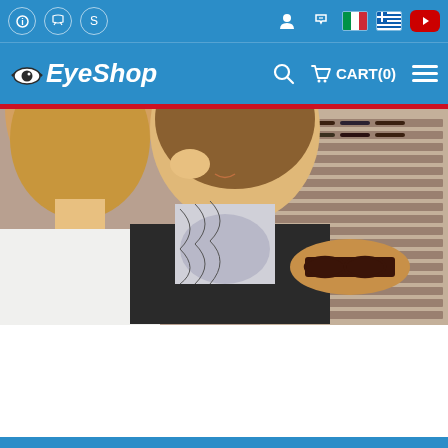EyeShop website header with utility bar (info, phone, skype icons) and navigation with logo, search, cart, and menu
[Figure (screenshot): Hero image showing two women in an optical shop examining eyeglass frames, with a large display wall of glasses in the background]
Blue footer strip